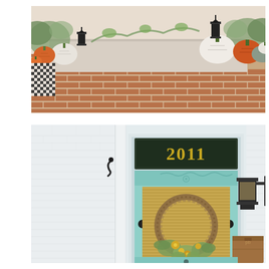[Figure (photo): Autumn porch steps decorated with orange, white, and gray pumpkins, greenery, black lanterns, and a black-and-white buffalo check blanket on brick stairs.]
[Figure (photo): A mint/aqua painted front door with a transom window displaying the house number 2011 in gold on a dark green background. A grapevine wreath with yellow and green flowers hangs on the door. White brick exterior, black hardware, a wall lantern sconce on the right, and a leather package on the right side.]